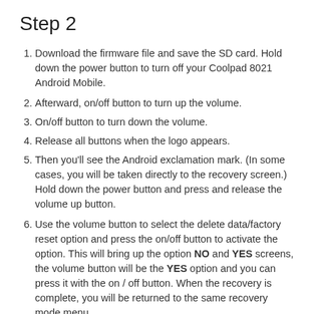Step 2
Download the firmware file and save the SD card. Hold down the power button to turn off your Coolpad 8021 Android Mobile.
Afterward, on/off button to turn up the volume.
On/off button to turn down the volume.
Release all buttons when the logo appears.
Then you'll see the Android exclamation mark. (In some cases, you will be taken directly to the recovery screen.) Hold down the power button and press and release the volume up button.
Use the volume button to select the delete data/factory reset option and press the on/off button to activate the option. This will bring up the option NO and YES screens, the volume button will be the YES option and you can press it with the on / off button. When the recovery is complete, you will be returned to the same recovery mode menu.
Then select the Apply updates from the SD card option.
Then find the firmware file and select it from the...